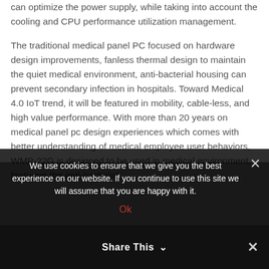can optimize the power supply, while taking into account the cooling and CPU performance utilization management.
The traditional medical panel PC focused on hardware design improvements, fanless thermal design to maintain the quiet medical environment, anti-bacterial housing can prevent secondary infection in hospitals. Toward Medical 4.0 IoT trend, it will be featured in mobility, cable-less, and high value performance. With more than 20 years on medical panel pc design experiences which comes with better understanding of medical employee user behaviors, WMP-22G is designed to be used in medical environment, featuring the anti-bacterial, utilization management, with up to three hot-swappable batteries controllable with the
We use cookies to ensure that we give you the best experience on our website. If you continue to use this site we will assume that you are happy with it.
Ok
Share This